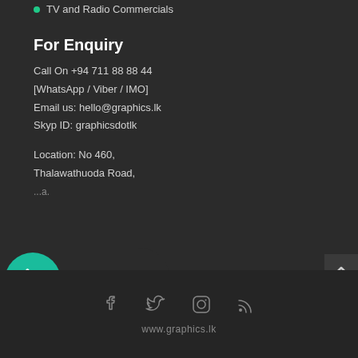TV and Radio Commercials
For Enquiry
Call On +94 711 88 88 44
[WhatsApp / Viber / IMO]
Email us: hello@graphics.lk
Skyp ID: graphicsdotlk
Location: No 460,
Thalawathuoda Road,
...a.
[Figure (other): CALL NOW button with teal phone icon circle on dark background]
[Figure (other): Scroll to top arrow button in dark box at right edge]
[Figure (other): Social media icons: Facebook, Twitter, Instagram, RSS]
www.graphics.lk